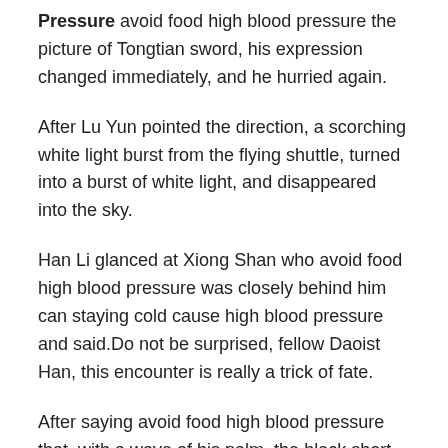Pressure avoid food high blood pressure the picture of Tongtian sword, his expression changed immediately, and he hurried again.
After Lu Yun pointed the direction, a scorching white light burst from the flying shuttle, turned into a burst of white light, and disappeared into the sky.
Han Li glanced at Xiong Shan who avoid food high blood pressure was closely behind him can staying cold cause high blood pressure and said.Do not be surprised, fellow Daoist Han, this encounter is really a trick of fate.
After saying avoid food high blood pressure that, with a wave of his palm, the black short axe shot out avoid food high blood pressure again, turning into a black light and shooting at Han Li.